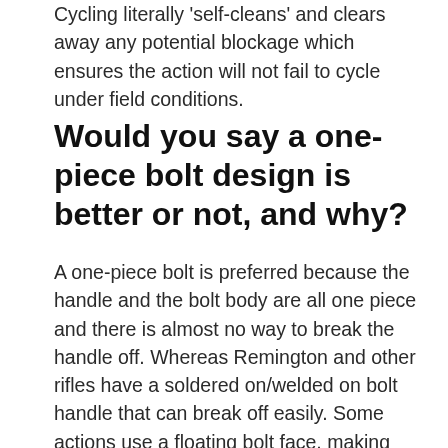Cycling literally 'self-cleans' and clears away any potential blockage which ensures the action will not fail to cycle under field conditions.
Would you say a one-piece bolt design is better or not, and why?
A one-piece bolt is preferred because the handle and the bolt body are all one piece and there is almost no way to break the handle off. Whereas Remington and other rifles have a soldered on/welded on bolt handle that can break off easily. Some actions use a floating bolt face, making them a two-piece bolt. The reason we do not use this design is because we machine our bolt and receiver so accurately that we have close to 100% bolt to receiver contact. The floating bolt head is designed to get more contact, but it also adds another joint that can induce harmonics into the rifle system. The more rigid and solid